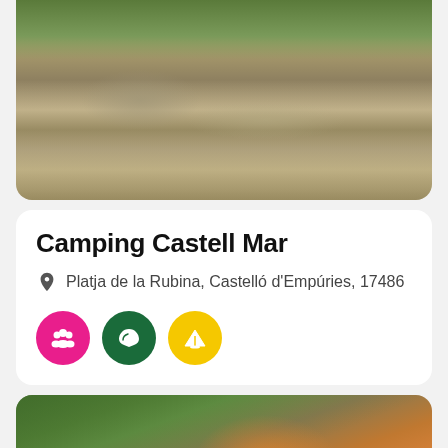[Figure (photo): Outdoor camping area with muddy path, puddles reflecting surroundings, rocky ground, and green vegetation in background]
Camping Castell Mar
Platja de la Rubina, Castelló d'Empúries, 17486
[Figure (photo): Outdoor playground area with orange slide and yellow structure surrounded by green trees and foliage]